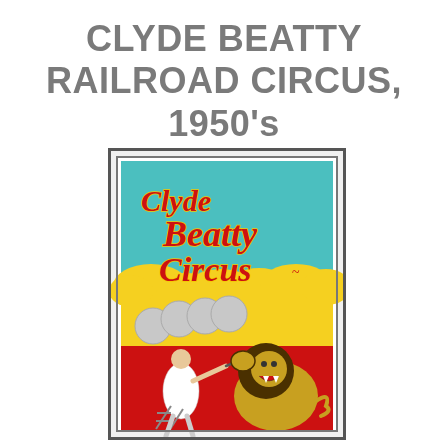CLYDE BEATTY RAILROAD CIRCUS, 1950's
[Figure (photo): A vintage Clyde Beatty Circus poster from the 1950s, framed and photographed. The poster shows the text 'Clyde Beatty Circus' in large red letters with yellow outlines on a teal/turquoise background with yellow clouds. The lower half of the poster depicts a lion tamer (man in white shirt holding a chair and stick) facing a large roaring lion against a red background. Several circular medallion images appear in the middle section.]